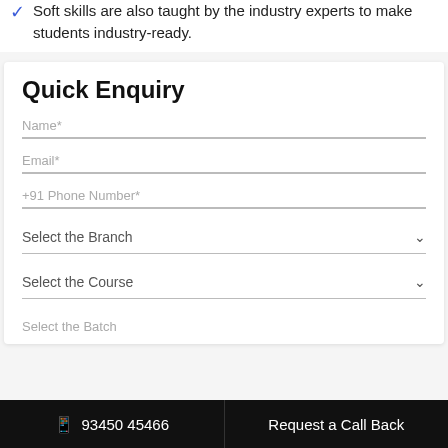Soft skills are also taught by the industry experts to make students industry-ready.
Quick Enquiry
Name*
Email*
+91 Phone Number*
Select the Branch
Select the Course
Select the Batch
📱 93450 45466   Request a Call Back